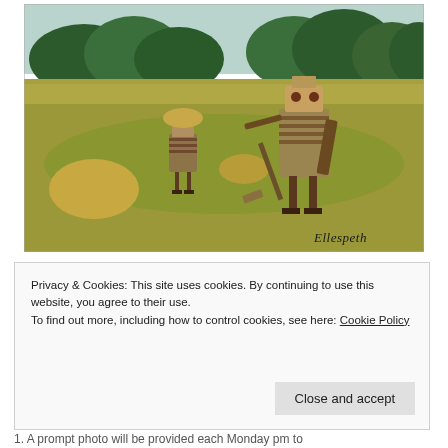[Figure (photo): Outdoor countryside scene with green and golden grass fields, trees in background, and two sculptural robot-like figures made of wood/hay bales standing in the field. Watermark 'Ellespeth' in bottom right corner.]
Privacy & Cookies: This site uses cookies. By continuing to use this website, you agree to their use.
To find out more, including how to control cookies, see here: Cookie Policy
Close and accept
1. A prompt photo will be provided each Monday pm to